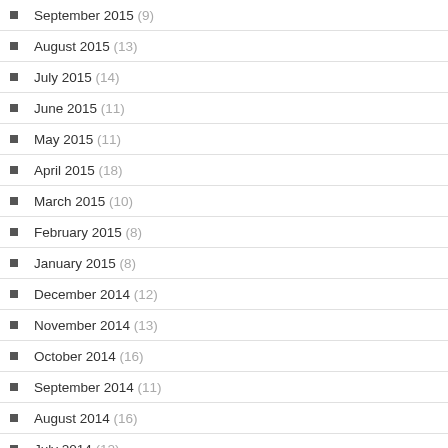September 2015 (9)
August 2015 (13)
July 2015 (14)
June 2015 (11)
May 2015 (11)
April 2015 (18)
March 2015 (10)
February 2015 (8)
January 2015 (8)
December 2014 (12)
November 2014 (13)
October 2014 (16)
September 2014 (11)
August 2014 (16)
July 2014 (12)